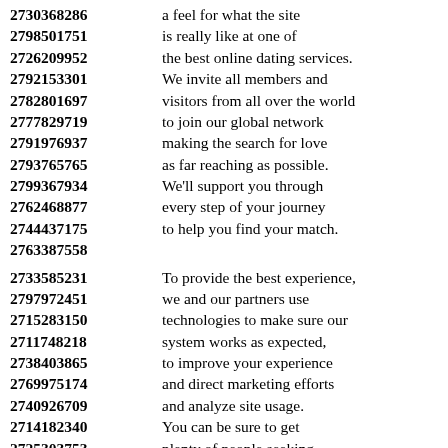2730368286 a feel for what the site
2798501751 is really like at one of
2726209952 the best online dating services.
2792153301 We invite all members and
2782801697 visitors from all over the world
2777829719 to join our global network
2791976937 making the search for love
2793765765 as far reaching as possible.
2799367934 We'll support you through
2762468877 every step of your journey
2744437175 to help you find your match.
2763387558

2733585231 To provide the best experience,
2797972451 we and our partners use
2715283150 technologies to make sure our
2711748218 system works as expected,
2738403865 to improve your experience
2769975174 and direct marketing efforts
2740926709 and analyze site usage.
2714182340 You can be sure to get
2725303753 plenty of people seeking
2720565522 singles available on the site.
2739992809 Make online dating more fun,
2791409548 easy,and safe for everyone.
2760249696